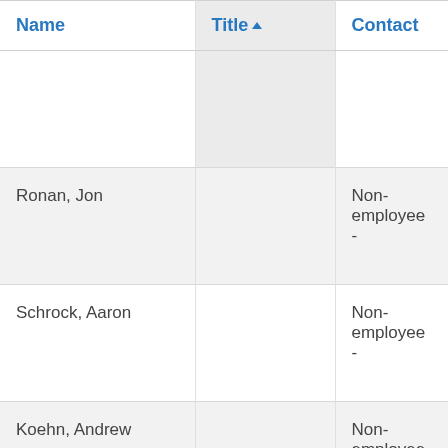| Name | Title | Contact | Unit |
| --- | --- | --- | --- |
|  |  |  |  |
| Ronan, Jon |  | Non-employee - |  |
| Schrock, Aaron |  | Non-employee - |  |
| Koehn, Andrew |  | Non-employee - |  |
| Kasper, Dean |  | Non-employee - |  |